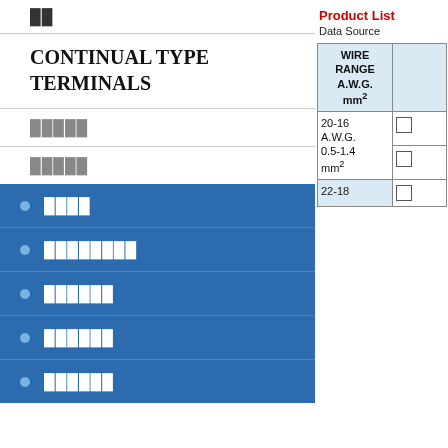██
CONTINUAL TYPE TERMINALS
█████
█████
████
████████
██████
██████
██████
Product List
Data Source
| WIRE RANGE A.W.G. mm² |  |
| --- | --- |
| 20-16 A.W.G. 0.5-1.4 mm² | □
□ |
| 22-18 | □ |